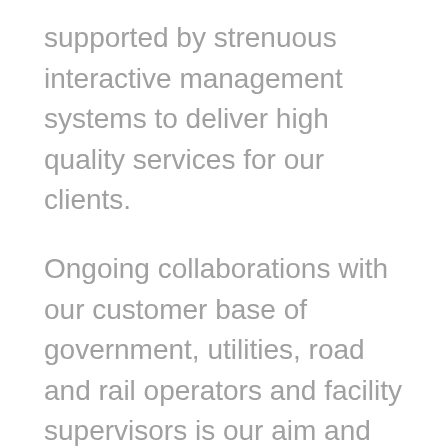supported by strenuous interactive management systems to deliver high quality services for our clients.
Ongoing collaborations with our customer base of government, utilities, road and rail operators and facility supervisors is our aim and we have been attaining this since 1992.
The right active ingredients for success